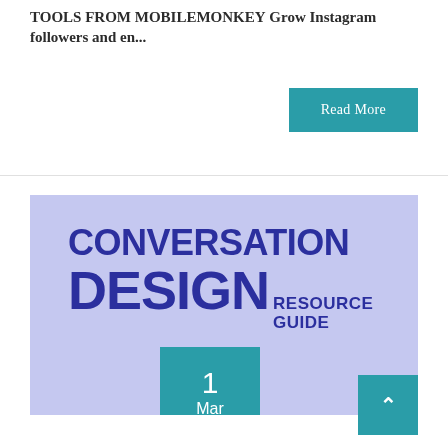TOOLS FROM MOBILEMONKEY Grow Instagram followers and en...
Read More
[Figure (illustration): Blog post thumbnail with lavender/periwinkle background showing bold dark blue text reading 'CONVERSATION DESIGN RESOURCE GUIDE' with a teal date badge showing '1 Mar']